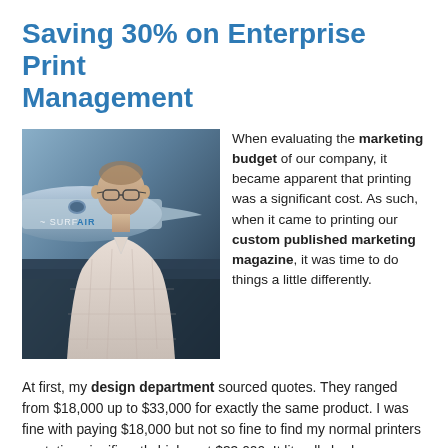Saving 30% on Enterprise Print Management
[Figure (photo): Man in glasses and plaid shirt standing in front of a Surf Air aircraft, outdoors. Professional marketing/testimonial photo.]
When evaluating the marketing budget of our company, it became apparent that printing was a significant cost. As such, when it came to printing our custom published marketing magazine, it was time to do things a little differently.
At first, my design department sourced quotes. They ranged from $18,000 up to $33,000 for exactly the same product. I was fine with paying $18,000 but not so fine to find my normal printers quotation significantly higher at $33,000. It literally had me stopping in my tracks and evaluating what I was doing and whether it was worth it